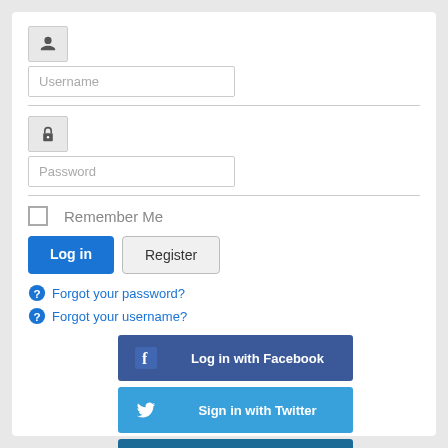[Figure (screenshot): Login form with username and password fields, remember me checkbox, login and register buttons, forgot password/username links, and social login buttons for Facebook, Twitter, and LinkedIn]
Username
Password
Remember Me
Log in
Register
Forgot your password?
Forgot your username?
Log in with Facebook
Sign in with Twitter
Sign In with Linkedin